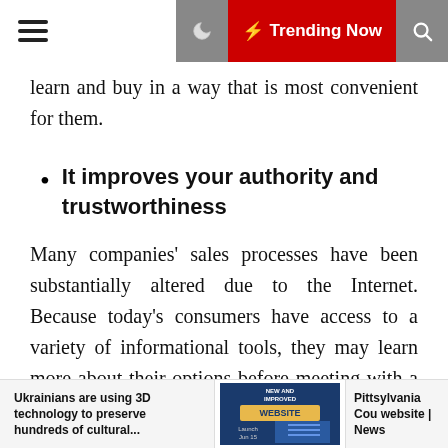Trending Now
learn and buy in a way that is most convenient for them.
It improves your authority and trustworthiness
Many companies' sales processes have been substantially altered due to the Internet. Because today's consumers have access to a variety of informational tools, they may learn more about their options before meeting with a salesman. And by optimising your website for
Ukrainians are using 3D technology to preserve hundreds of cultural... | Pittsylvania Cou website | News